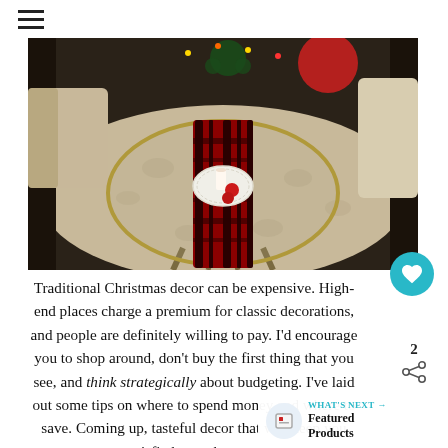≡
[Figure (photo): Overhead view of an oval glass coffee table with a red plaid table runner and a white plate with Christmas ornaments and a candle, on a floral patterned rug in a living room with Christmas decorations in the background.]
Traditional Christmas decor can be expensive. High-end places charge a premium for classic decorations, and people are definitely willing to pay. I'd encourage you to shop around, don't buy the first thing that you see, and think strategically about budgeting. I've laid out some tips on where to spend money and where to save. Coming up, tasteful decor that will keep you satisfied over the years